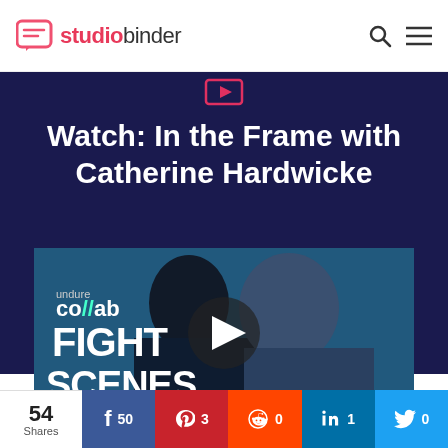studiobinder
Watch: In the Frame with Catherine Hardwicke
[Figure (screenshot): Video thumbnail showing two people close together with blue tones, text 'co//ab' and 'FIGHT SCENES' overlaid, with a play button in the center]
54 Shares   f 50   p 3   reddit 0   in 1   twitter 0